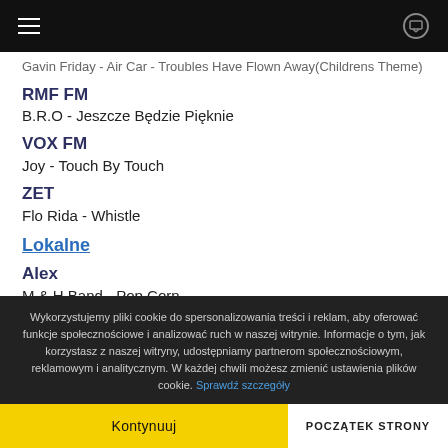Navigation bar with hamburger menu and monitor icon
Gavin Friday - Air Car - Troubles Have Flown Away(Childrens Theme)
RMF FM — B.R.O - Jeszcze Będzie Pięknie
VOX FM — Joy - Touch By Touch
ZET — Flo Rida - Whistle
Lokalne
Alex — M & H Band - Pop Corn
Eska
Wykorzystujemy pliki cookie do spersonalizowania treści i reklam, aby oferować funkcje społecznościowe i analizować ruch w naszej witrynie. Informacje o tym, jak korzystasz z naszej witryny, udostępniamy partnerom społecznościowym, reklamowym i analitycznym. W każdej chwili możesz zmienić ustawienia plików cookie. Sprawdź szczegóły
Kontynuuj
POCZĄTEK STRONY